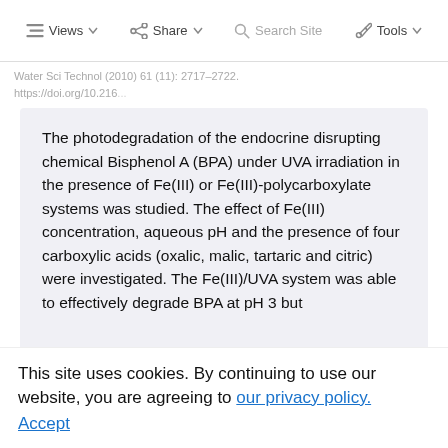Views  Share  Tools
Water Sci Technol (2010) 61 (11): 2717–2722. https://doi.org/10.216...
The photodegradation of the endocrine disrupting chemical Bisphenol A (BPA) under UVA irradiation in the presence of Fe(III) or Fe(III)-polycarboxylate systems was studied. The effect of Fe(III) concentration, aqueous pH and the presence of four carboxylic acids (oxalic, malic, tartaric and citric) were investigated. The Fe(III)/UVA system was able to effectively degrade BPA at pH 3 but failed at pH 4. Complete mineralization of BPA was achieved with the Fe(III)/UVA system. The presence of carboxylic acids greatly enhanced the BPA degradation rate because of the formation of
This site uses cookies. By continuing to use our website, you are agreeing to our privacy policy. Accept